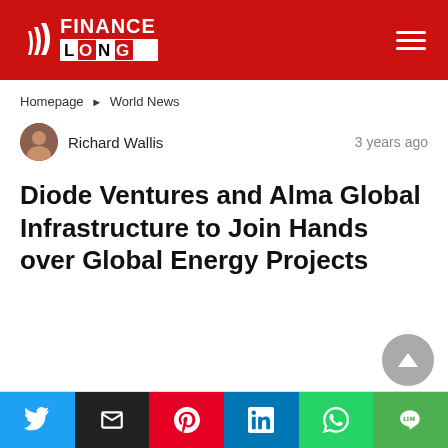Finance Long
Homepage › World News
Richard Wallis   3 years ago
Diode Ventures and Alma Global Infrastructure to Join Hands over Global Energy Projects